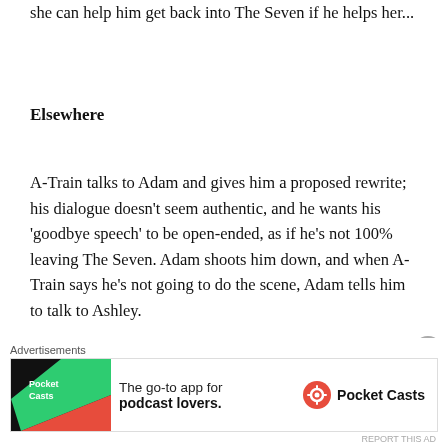she can help him get back into The Seven if he helps her...
Elsewhere
A-Train talks to Adam and gives him a proposed rewrite; his dialogue doesn't seem authentic, and he wants his 'goodbye speech' to be open-ended, as if he's not 100% leaving The Seven. Adam shoots him down, and when A-Train says he's not going to do the scene, Adam tells him to talk to Ashley.
Stormfront and A-Train chat, and she taunts him about being fired. Ashley comes over and grabs A-
[Figure (screenshot): Advertisement banner for Pocket Casts app — 'The go-to app for podcast lovers.']